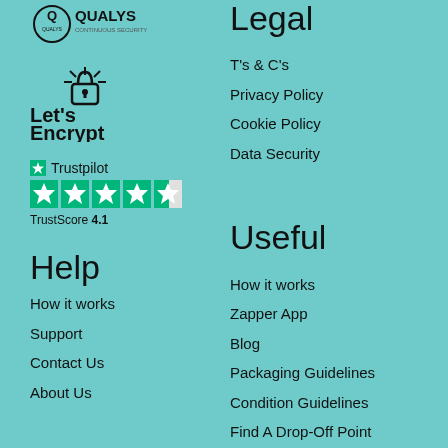[Figure (logo): Qualys cybersecurity logo — circular shield with Q, text 'QUALYS' and tagline]
[Figure (logo): Let's Encrypt logo — padlock with sun rays, bold text Let's Encrypt]
[Figure (logo): Trustpilot logo with green star rating — 4 full green stars and 1 half star, TrustScore 4.1]
Legal
T's & C's
Privacy Policy
Cookie Policy
Data Security
Help
How it works
Support
Contact Us
About Us
Useful
How it works
Zapper App
Blog
Packaging Guidelines
Condition Guidelines
Find A Drop-Off Point
Dream Box